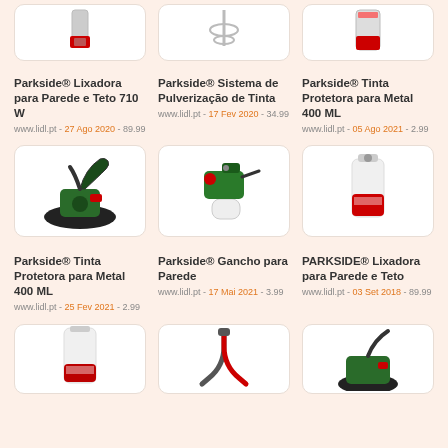[Figure (photo): Partial product image - sander/tool with red accents]
[Figure (photo): Partial product image - paint mixing attachment]
[Figure (photo): Partial product image - spray can red/black]
Parkside® Lixadora para Parede e Teto 710 W
www.lidl.pt - 27 Ago 2020 - 89.99
Parkside® Sistema de Pulverização de Tinta
www.lidl.pt - 17 Fev 2020 - 34.99
Parkside® Tinta Protetora para Metal 400 ML
www.lidl.pt - 05 Ago 2021 - 2.99
[Figure (photo): Parkside green wall sander tool]
[Figure (photo): Parkside green paint spray gun]
[Figure (photo): Parkside metal protective paint spray can white/red]
Parkside® Tinta Protetora para Metal 400 ML
www.lidl.pt - 25 Fev 2021 - 2.99
Parkside® Gancho para Parede
www.lidl.pt - 17 Mai 2021 - 3.99
PARKSIDE® Lixadora para Parede e Teto
www.lidl.pt - 03 Set 2018 - 89.99
[Figure (photo): Parkside spray can partial bottom]
[Figure (photo): Parkside wall hook/anchor partial]
[Figure (photo): Parkside green sander tool partial]